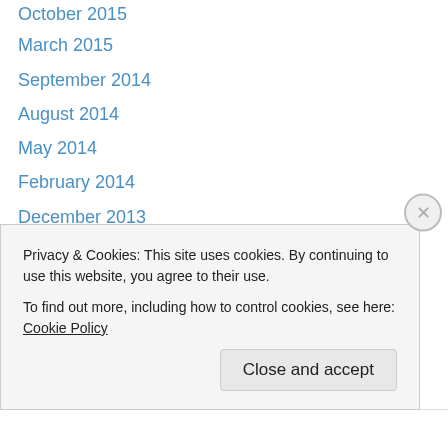October 2015
March 2015
September 2014
August 2014
May 2014
February 2014
December 2013
October 2013
September 2013
July 2013
April 2013
December 2012
October 2012
September 2012
Privacy & Cookies: This site uses cookies. By continuing to use this website, you agree to their use. To find out more, including how to control cookies, see here: Cookie Policy
Close and accept